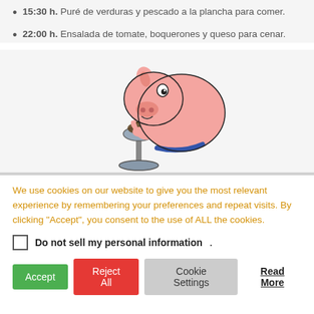15:30 h. Puré de verduras y pescado a la plancha para comer.
22:00 h. Ensalada de tomate, boquerones y queso para cenar.
[Figure (illustration): Cartoon illustration of a pink pig bending over and sniffing or eating from a scale/balance on a stand]
We use cookies on our website to give you the most relevant experience by remembering your preferences and repeat visits. By clicking "Accept", you consent to the use of ALL the cookies.
Do not sell my personal information
Accept  Reject All  Cookie Settings  Read More